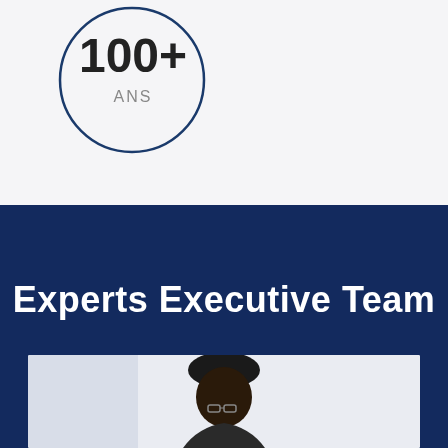[Figure (infographic): Circle outline with '100+' large text and 'ANS' below, on light grey background]
Experts Executive Team
[Figure (photo): Portrait photo of a person wearing a black turban and glasses, upper body visible against light background]